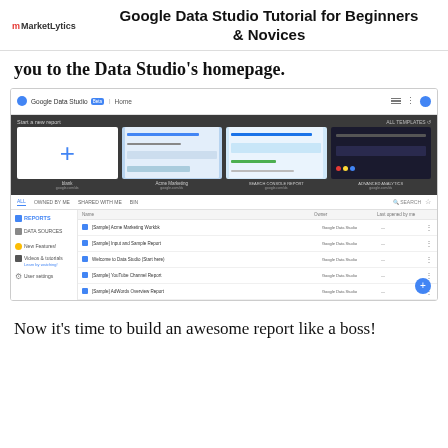MarketLytics — Google Data Studio Tutorial for Beginners & Novices
you to the Data Studio's homepage.
[Figure (screenshot): Screenshot of Google Data Studio Beta homepage showing template gallery with Blank, Acme Marketing, Search Console Report, and Advanced Analytics templates, plus a list of sample reports including Acme Marketing Workbk, Input and Sample Report, Welcome to Data Studio (Start here), YouTube Channel Report, and AdWords Overview Report.]
Now it's time to build an awesome report like a boss!